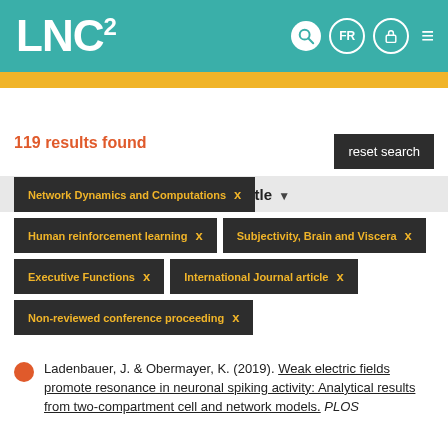LNC²
TRIER PAR: Year  Type  Author  Title
119 results found
Network Dynamics and Computations ×
Human reinforcement learning ×
Subjectivity, Brain and Viscera ×
Executive Functions ×
International Journal article ×
Non-reviewed conference proceeding ×
Ladenbauer, J. & Obermayer, K. (2019). Weak electric fields promote resonance in neuronal spiking activity: Analytical results from two-compartment cell and network models. PLOS